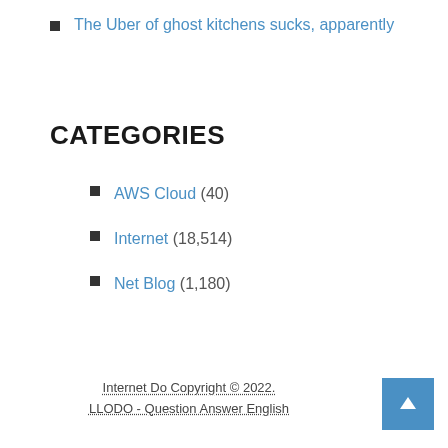The Uber of ghost kitchens sucks, apparently
CATEGORIES
AWS Cloud (40)
Internet (18,514)
Net Blog (1,180)
Internet Do Copyright © 2022. LLODO - Question Answer English